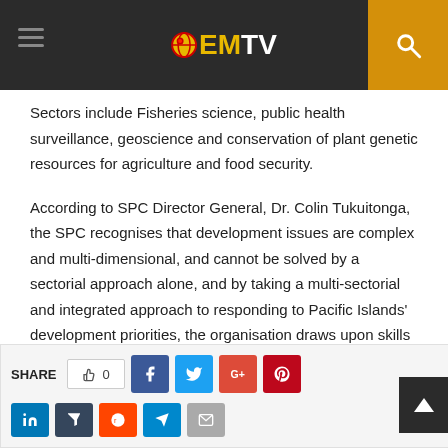EMTV
Sectors include Fisheries science, public health surveillance, geoscience and conservation of plant genetic resources for agriculture and food security.
According to SPC Director General, Dr. Colin Tukuitonga, the SPC recognises that development issues are complex and multi-dimensional, and cannot be solved by a sectorial approach alone, and by taking a multi-sectorial and integrated approach to responding to Pacific Islands' development priorities, the organisation draws upon skills and capabilities from around the region and internationally.
SHARE